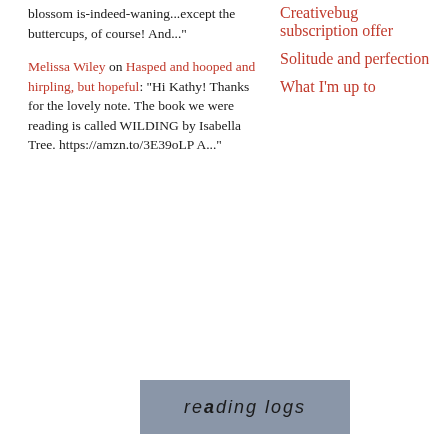blossom is-indeed-waning...except the buttercups, of course! And..."
Melissa Wiley on Hasped and hooped and hirpling, but hopeful: "Hi Kathy! Thanks for the lovely note. The book we were reading is called WILDING by Isabella Tree. https://amzn.to/3E39oLPA..."
Creativebug subscription offer
Solitude and perfection
What I'm up to
[Figure (other): A grey rectangular button with the text 'reading LOGS' in mixed italic and small-caps style lettering]